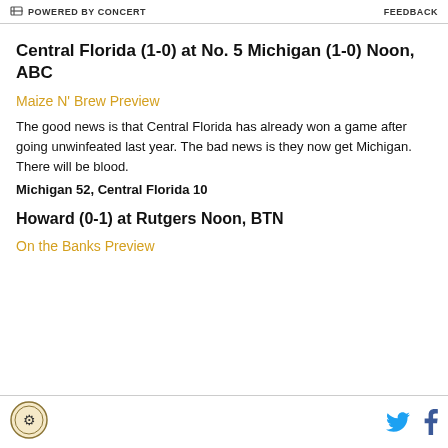POWERED BY CONCERT   FEEDBACK
Central Florida (1-0) at No. 5 Michigan (1-0) Noon, ABC
Maize N’ Brew Preview
The good news is that Central Florida has already won a game after going unwinfeated last year. The bad news is they now get Michigan. There will be blood.
Michigan 52, Central Florida 10
Howard (0-1) at Rutgers Noon, BTN
On the Banks Preview